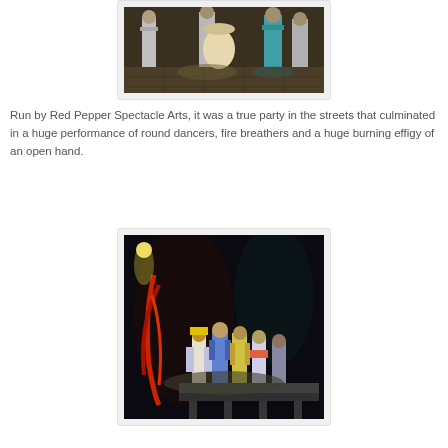[Figure (photo): Street performers in silver costumes with a large drum at night]
Run by Red Pepper Spectacle Arts, it was a true party in the streets that culminated in a huge performance of round dancers, fire breathers and a huge burning effigy of an open hand.
[Figure (photo): Colorful costumed performers on a stage with dramatic lighting and dark background]